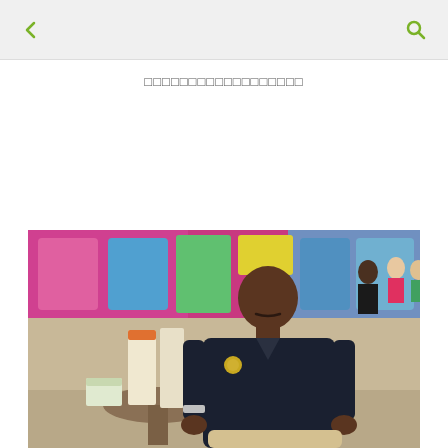← [back] [search]
□□□□□□□□□□□□□□□□□□
[Figure (photo): A man wearing a dark navy polo shirt with a logo patch, sitting in a chair at a cafe or food court. He has a mustache and is wearing a watch. In the background there are colorful signage boards, menus on the table, and other people visible. Green and pink colors dominate the background setting.]